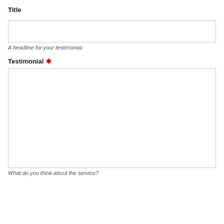Title
[Figure (other): Empty text input field for title]
A headline for your testimonial.
Testimonial *
[Figure (other): Large empty textarea for testimonial text]
What do you think about the service?